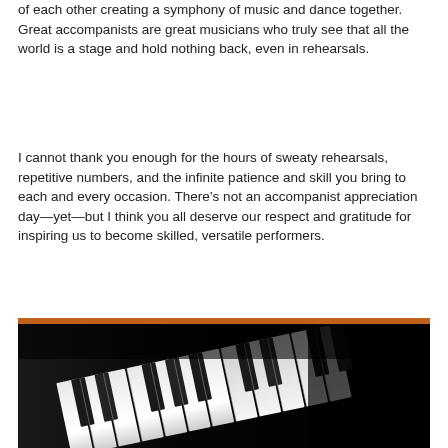of each other creating a symphony of music and dance together.  Great accompanists are great musicians who truly see that all the world is a stage and hold nothing back, even in rehearsals.
I cannot thank you enough for the hours of sweaty rehearsals, repetitive numbers, and the infinite patience and skill you bring to each and every occasion. There's not an accompanist appreciation day—yet—but I think you all deserve our respect and gratitude for inspiring us to become skilled, versatile performers.
[Figure (photo): Close-up photograph of piano keys from a low angle, black and white keys visible, dark background, dramatic lighting]